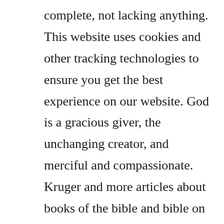complete, not lacking anything. This website uses cookies and other tracking technologies to ensure you get the best experience on our website. God is a gracious giver, the unchanging creator, and merciful and compassionate. Kruger and more articles about books of the bible and bible on christianity. James, a servant of god and of the lord jesus christ, to the twelve tribes in the dispersion. Summary the letter of james, although ostensibly in the form of a general letter, has more the character of a sermon or